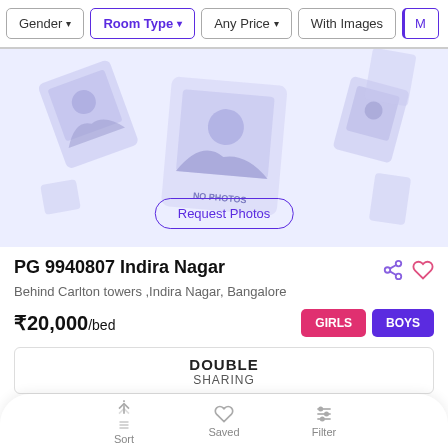Gender | Room Type | Any Price | With Images | M…
[Figure (illustration): Blurred lavender/purple toned placeholder image area with scattered photo-frame illustrations and a 'NO PHOTOS' label in the center. A 'Request Photos' button overlays at the bottom center.]
PG 9940807 Indira Nagar
Behind Carlton towers ,Indira Nagar, Bangalore
₹20,000/bed
GIRLS  BOYS
| DOUBLE | SHARING |
Rent property in the heart of Bengaluru city. Property for rent avail… Read more
0.6 km from Hal
Shammi Singh
Sort  Saved  Filter